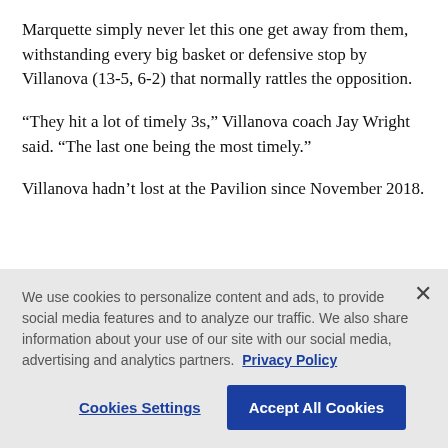Marquette simply never let this one get away from them, withstanding every big basket or defensive stop by Villanova (13-5, 6-2) that normally rattles the opposition.
“They hit a lot of timely 3s,” Villanova coach Jay Wright said. “The last one being the most timely.”
Villanova hadn’t lost at the Pavilion since November 2018.
Lewis hit five 3s and scored 21 points for Marquette
We use cookies to personalize content and ads, to provide social media features and to analyze our traffic. We also share information about your use of our site with our social media, advertising and analytics partners.  Privacy Policy

Cookies Settings    Accept All Cookies